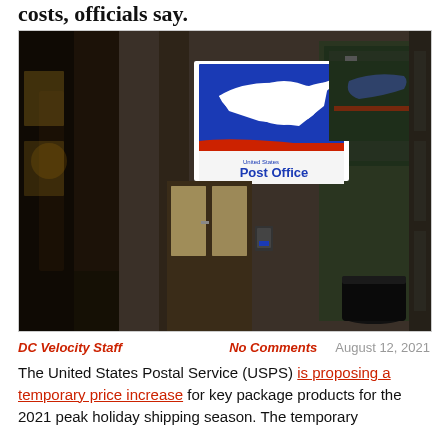costs, officials say.
[Figure (photo): Night-time exterior photo of a United States Post Office storefront showing the illuminated USPS eagle logo sign with 'Post Office' text, with the building facade visible and a trash can in the foreground.]
DC Velocity Staff   No Comments   August 12, 2021
The United States Postal Service (USPS) is proposing a temporary price increase for key package products for the 2021 peak holiday shipping season. The temporary